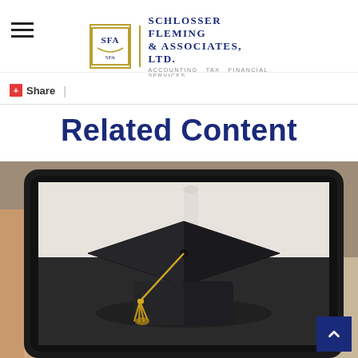Schlosser Fleming & Associates, Ltd. — Accounting Tax Financial Services
+ Share |
Related Content
[Figure (photo): A hand holding a tablet displaying a graduation cap (mortarboard) with gold tassel against a light background]